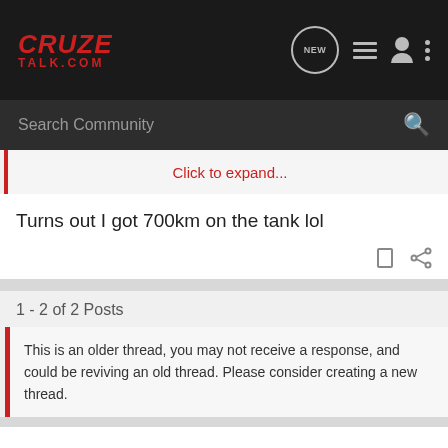CRUZE TALK.COM — navigation bar with logo and icons
Search Community
Click to expand...
Turns out I got 700km on the tank lol
1 - 2 of 2 Posts
This is an older thread, you may not receive a response, and could be reviving an old thread. Please consider creating a new thread.
Join the discussion